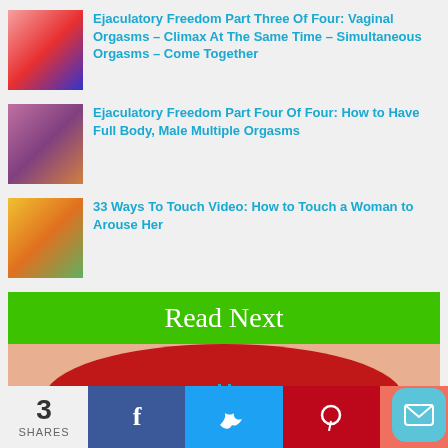Ejaculatory Freedom Part Three Of Four: Vaginal Orgasms – Climax At The Same Time – Simultaneous Orgasms – Come Together
Ejaculatory Freedom Part Four Of Four: How to Have Full Body, Male Multiple Orgasms
33 Ways To Touch Video: How to Touch a Woman to Arouse Her
Read Next
[Figure (photo): Close-up illustration of red lips with a small man in white climbing a blue ladder on the lip]
3 SHARES
[Figure (infographic): Social sharing bar with Facebook, Twitter, Pinterest buttons and email icon]